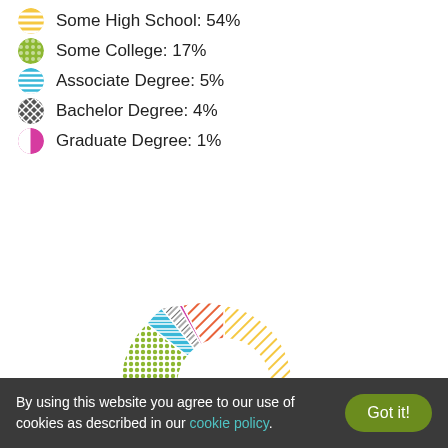Some High School: 54%
Some College: 17%
Associate Degree: 5%
Bachelor Degree: 4%
Graduate Degree: 1%
[Figure (donut-chart): Education breakdown]
By using this website you agree to our use of cookies as described in our cookie policy.